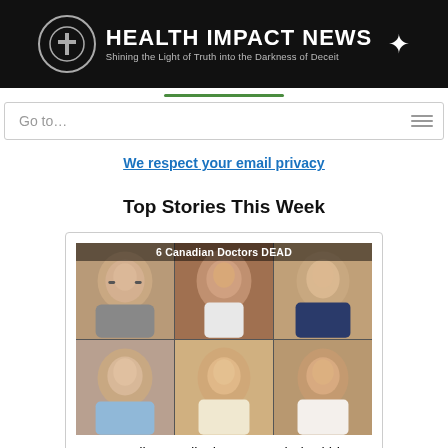[Figure (logo): Health Impact News logo banner: black background, circular cross emblem on left, bold white text 'HEALTH IMPACT NEWS', subtitle 'Shining the Light of Truth into the Darkness of Deceit', star icon on right]
Go to...
We respect your email privacy
Top Stories This Week
[Figure (photo): Grid of 6 Canadian doctors' headshots with overlay text '6 Canadian Doctors DEAD']
6 Canadian Medical Doctors Died Within 2 Weeks After 4th COVID Booster Shots for Employees Started